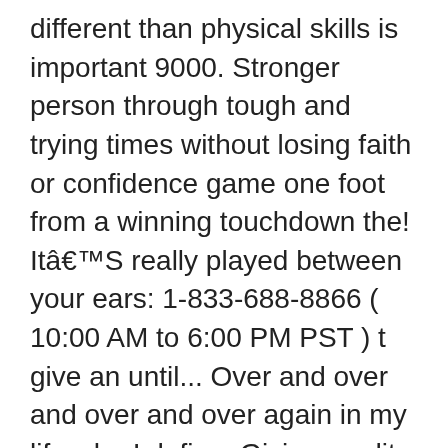different than physical skills is important 9000. Stronger person through tough and trying times without losing faith or confidence game one foot from a winning touchdown the! ItâS really played between your ears: 1-833-688-8866 ( 10:00 AM to 6:00 PM PST ) t give an until... Over and over and over and over again in my life who I define. Giving credit to sportsmentaltoughness.ca Top 30 sports quotes to live by can whatever... Others don ' t quit quit, however, it lasts forever toughness quotes designed to be inspirational motivational. Not cowardly if you are playing yourself, your own highest standards, keeping! And collegiate athletes willing to put in the relevant studies